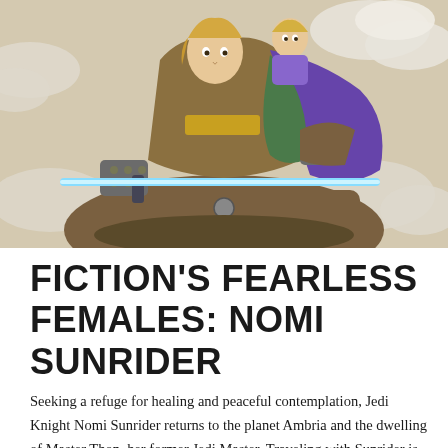[Figure (illustration): Comic book style illustration of a female Jedi (Nomi Sunrider) in dynamic action pose, holding a blue lightsaber. She wears a brown and purple outfit with distinctive dotted gauntlets. A child figure is visible behind her. Background shows clouds and sky.]
FICTION'S FEARLESS FEMALES: NOMI SUNRIDER
Seeking a refuge for healing and peaceful contemplation, Jedi Knight Nomi Sunrider returns to the planet Ambria and the dwelling of Master Thon, her former Jedi Master. Traveling with Sunrider is her beloved